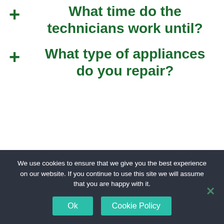+ What time do the technicians work until?
+ What type of appliances do you repair?
We use cookies to ensure that we give you the best experience on our website. If you continue to use this site we will assume that you are happy with it.
Ok  Cookie Policy